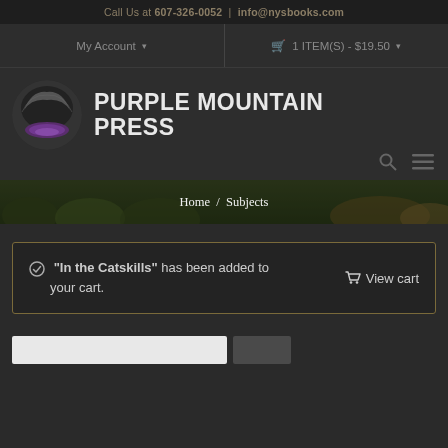Call Us at 607-326-0052 | info@nysbooks.com
My Account  ▾    🛒 1 ITEM(S) - $19.50  ▾
[Figure (logo): Purple Mountain Press logo with circular tree illustration and bold white text 'PURPLE MOUNTAIN PRESS']
[Figure (photo): Aerial forest photo used as breadcrumb banner background]
Home / Subjects
"In the Catskills" has been added to your cart.
🛒 View cart